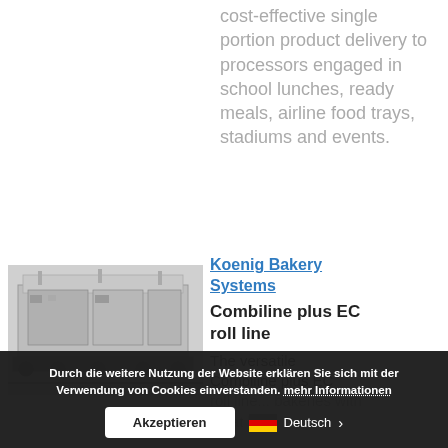cost-effective single portion product delivery to processors engaged in school lunches, ready meals, airline food trays, stadiums and events.
Koenig Bakery Systems
Combiline plus EC roll line
The versatile Combiline plus EC
[Figure (photo): Industrial bakery conveyor/production line machinery photograph]
Durch die weitere Nutzung der Website erklären Sie sich mit der Verwendung von Cookies einverstanden. mehr Informationen
Akzeptieren
Deutsch >